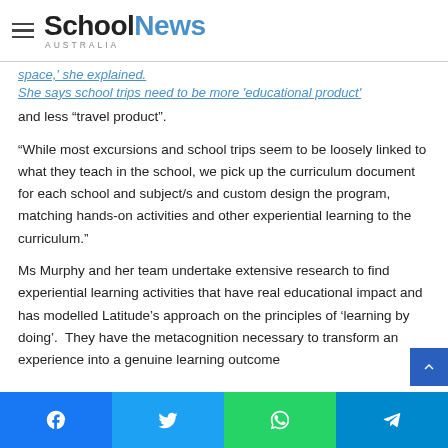School News Australia
space,' she explained. She says school trips need to be more 'educational product' and less “travel product”.
“While most excursions and school trips seem to be loosely linked to what they teach in the school, we pick up the curriculum document for each school and subject/s and custom design the program, matching hands-on activities and other experiential learning to the curriculum.”
Ms Murphy and her team undertake extensive research to find experiential learning activities that have real educational impact and has modelled Latitude’s approach on the principles of ‘learning by doing’.  They have the metacognition necessary to transform an experience into a genuine learning outcome